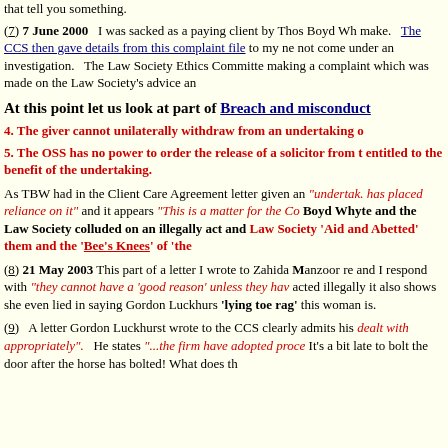that tell you something.
(7) 7 June 2000   I was sacked as a paying client by Thos Boyd Wh make.   The CCS then gave details from this complaint file to my ne not come under an investigation.   The Law Society Ethics Committe making a complaint which was made on the Law Society's advice an
At this point let us look at part of Breach and misconduct
4. The giver cannot unilaterally withdraw from an undertaking o
5. The OSS has no power to order the release of a solicitor from t entitled to the benefit of the undertaking.
As TBW had in the Client Care Agreement letter given an "undertak. has placed reliance on it" and it appears "This is a matter for the Co Boyd Whyte and the Law Society colluded on an illegally act and Law Society 'Aid and Abetted' them and the 'Bee's Knees' of 'the
(8) 21 May 2003 This part of a letter I wrote to Zahida Manzoor re and I respond with "they cannot have a 'good reason' unless they hav acted illegally it also shows she even lied in saying Gordon Luckhurs 'lying toe rag' this woman is.
(9)   A letter Gordon Luckhurst wrote to the CCS clearly admits his dealt with appropriately".   He states "...the firm have adopted proce It's a bit late to bolt the door after the horse has bolted! What does th